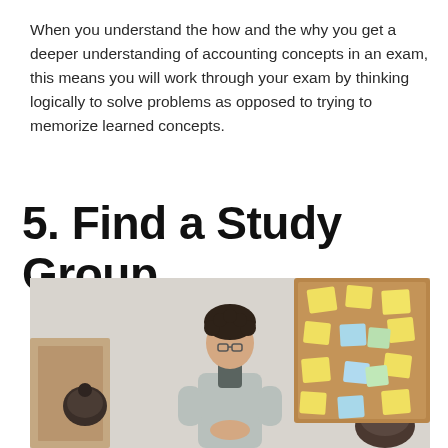When you understand the how and the why you get a deeper understanding of accounting concepts in an exam, this means you will work through your exam by thinking logically to solve problems as opposed to trying to memorize learned concepts.
5. Find a Study Group
[Figure (photo): A person with curly hair and glasses wearing a light grey blazer standing and presenting in front of a corkboard covered with colorful sticky notes (yellow, blue, green, pink). Two other people are seated facing the presenter, visible from behind. The setting appears to be a classroom or study group meeting room with a light grey/white wall.]